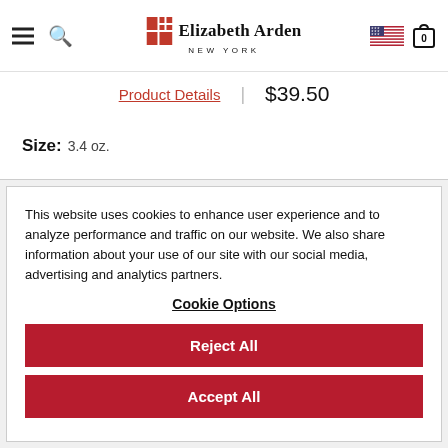Elizabeth Arden New York
Product Details | $39.50
Size: 3.4 oz.
This website uses cookies to enhance user experience and to analyze performance and traffic on our website. We also share information about your use of our site with our social media, advertising and analytics partners.
Cookie Options
Reject All
Accept All